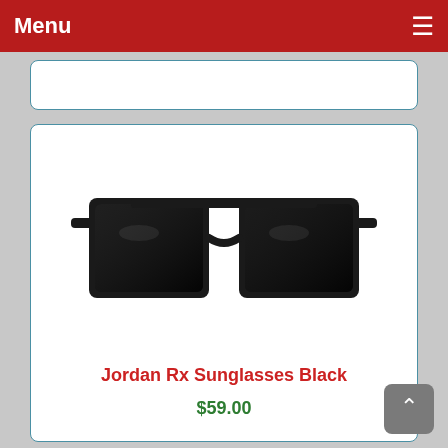Menu
[Figure (photo): Black rectangular-frame sunglasses (Jordan Rx Sunglasses Black) with dark tinted lenses, photographed on a white background.]
Jordan Rx Sunglasses Black
$59.00